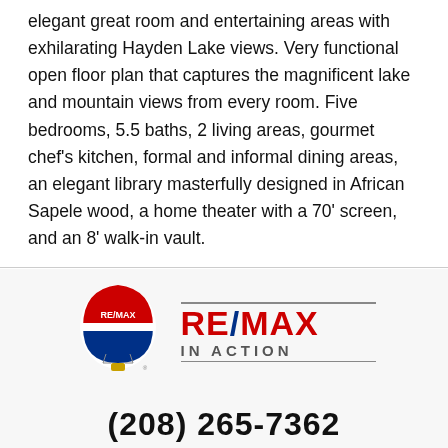elegant great room and entertaining areas with exhilarating Hayden Lake views. Very functional open floor plan that captures the magnificent lake and mountain views from every room. Five bedrooms, 5.5 baths, 2 living areas, gourmet chef's kitchen, formal and informal dining areas, an elegant library masterfully designed in African Sapele wood, a home theater with a 70' screen, and an 8' walk-in vault.
[Figure (logo): RE/MAX In Action logo with hot air balloon graphic and company name]
(208) 265-7362